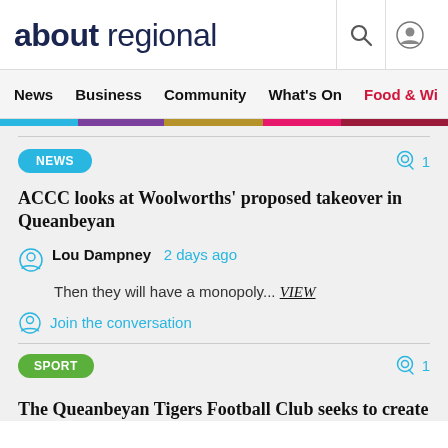about regional
News  Business  Community  What's On  Food & Wi
NEWS  1
ACCC looks at Woolworths' proposed takeover in Queanbeyan
Lou Dampney  2 days ago
Then they will have a monopoly... VIEW
Join the conversation
SPORT  1
The Queanbeyan Tigers Football Club seeks to create